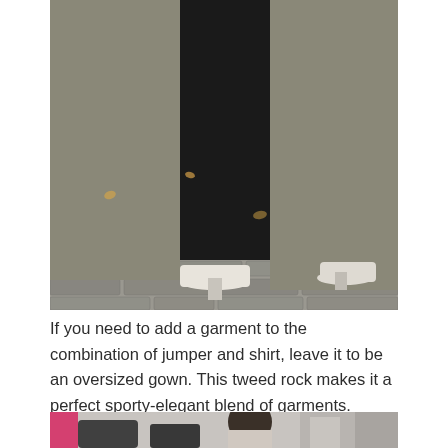[Figure (photo): Fashion photo showing the lower body of a woman wearing black wide-leg trousers, an oversized plaid/tweed long coat, and pointed-toe white block-heel shoes, walking on cobblestone pavement.]
If you need to add a garment to the combination of jumper and shirt, leave it to be an oversized gown. This tweed rock makes it a perfect sporty-elegant blend of garments.
[Figure (photo): Partial photo at the bottom of the page showing a woman with dark hair, partially cropped.]